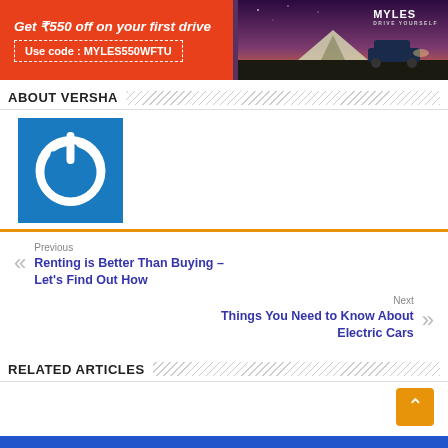[Figure (screenshot): Myles car rental promotional banner: orange background on left with text 'Get ₹550 off on your first drive' and dashed box 'Use code : MYLES550WFTU'; right side shows purple/dark sky scene with tent and car, MYLES logo top right]
ABOUT VERSHA
[Figure (logo): Blue square with white power/on button icon (circle with gap at top and vertical line)]
Previous
Renting is Better Than Buying – Let's Find Out How
Next
Things You Need to Know About Electric Cars
RELATED ARTICLES